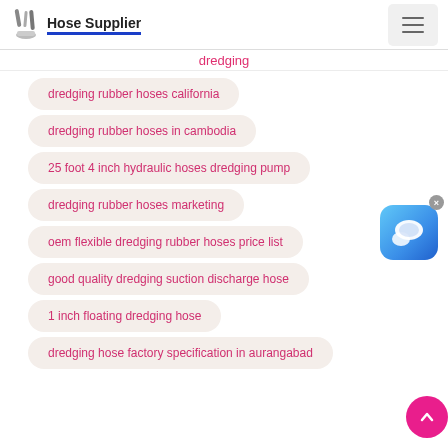Hose Supplier
dredging
dredging rubber hoses california
dredging rubber hoses in cambodia
25 foot 4 inch hydraulic hoses dredging pump
dredging rubber hoses marketing
oem flexible dredging rubber hoses price list
good quality dredging suction discharge hose
1 inch floating dredging hose
dredging hose factory specification in aurangabad